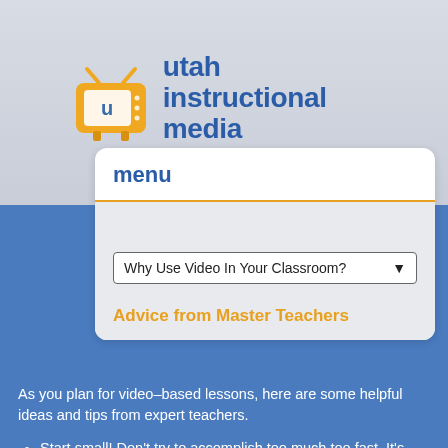[Figure (logo): Utah Instructional Media logo with TV icon and site name]
utah instructional media
quality content for your utah classroom
menu
Why Use Video In Your Classroom?
Advice from Master Teachers
As you plan for video-based lessons, here are some helpful ideas and tips from expert teachers.
Start small! Don't try to accomplish too much too fast. It's better to use one or two videos very effectively in a semester than to try to use videos all the time when you begin. As you learn, add to your repertoire.
Expect problems. You're bound to run into technical difficulty. Always test equipment...